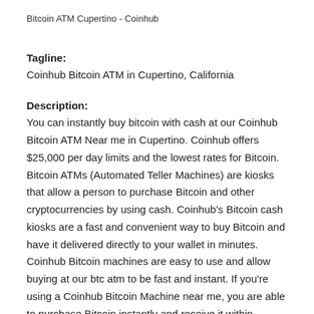Bitcoin ATM Cupertino - Coinhub
Tagline:
Coinhub Bitcoin ATM in Cupertino, California
Description:
You can instantly buy bitcoin with cash at our Coinhub Bitcoin ATM Near me in Cupertino. Coinhub offers $25,000 per day limits and the lowest rates for Bitcoin. Bitcoin ATMs (Automated Teller Machines) are kiosks that allow a person to purchase Bitcoin and other cryptocurrencies by using cash. Coinhub's Bitcoin cash kiosks are a fast and convenient way to buy Bitcoin and have it delivered directly to your wallet in minutes. Coinhub Bitcoin machines are easy to use and allow buying at our btc atm to be fast and instant. If you're using a Coinhub Bitcoin Machine near me, you are able to purchase Bitcoin instantly and receive it within